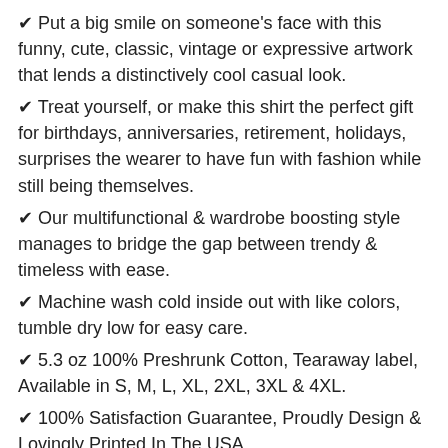✔ Put a big smile on someone's face with this funny, cute, classic, vintage or expressive artwork that lends a distinctively cool casual look.
✔ Treat yourself, or make this shirt the perfect gift for birthdays, anniversaries, retirement, holidays, surprises the wearer to have fun with fashion while still being themselves.
✔ Our multifunctional & wardrobe boosting style manages to bridge the gap between trendy & timeless with ease.
✔ Machine wash cold inside out with like colors, tumble dry low for easy care.
✔ 5.3 oz 100% Preshrunk Cotton, Tearaway label, Available in S, M, L, XL, 2XL, 3XL & 4XL.
✔ 100% Satisfaction Guarantee, Proudly Design & Lovingly Printed In The USA.
Disclaimer: